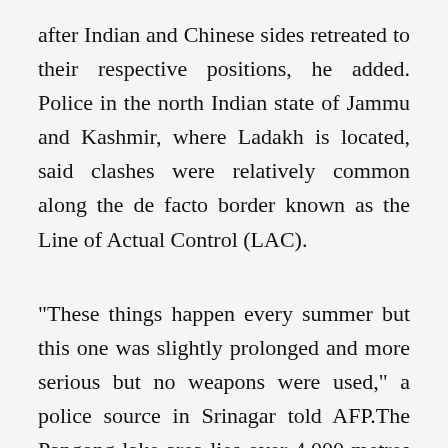after Indian and Chinese sides retreated to their respective positions, he added. Police in the north Indian state of Jammu and Kashmir, where Ladakh is located, said clashes were relatively common along the de facto border known as the Line of Actual Control (LAC).
"These things happen every summer but this one was slightly prolonged and more serious but no weapons were used," a police source in Srinagar told AFP.The Pangong lake area lies over 4,000 metres (13,000 feet) high on the Tibetan plateau.